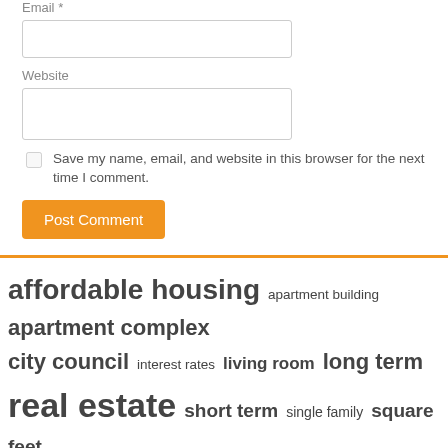Email *
Website
Save my name, email, and website in this browser for the next time I comment.
Post Comment
affordable housing  apartment building  apartment complex  city council  interest rates  living room  long term  real estate  short term  single family  square feet  square foot  united states  vacation rentals  vice president
Recent Posts
Sarasota's Best Airbnbs | Sarasota Magazine